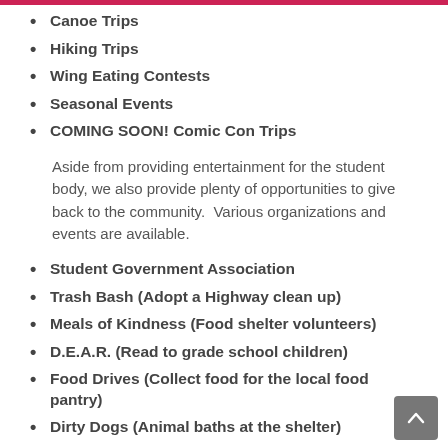Canoe Trips
Hiking Trips
Wing Eating Contests
Seasonal Events
COMING SOON! Comic Con Trips
Aside from providing entertainment for the student body, we also provide plenty of opportunities to give back to the community. Various organizations and events are available.
Student Government Association
Trash Bash (Adopt a Highway clean up)
Meals of Kindness (Food shelter volunteers)
D.E.A.R. (Read to grade school children)
Food Drives (Collect food for the local food pantry)
Dirty Dogs (Animal baths at the shelter)